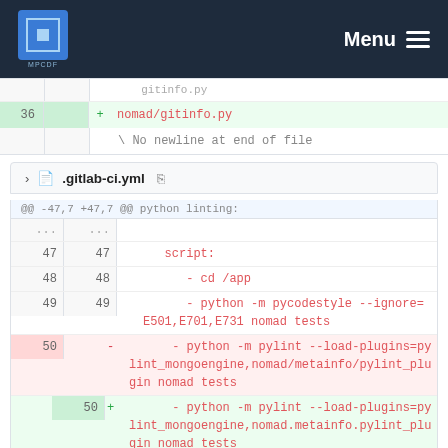MPCDF Menu
[Figure (screenshot): Code diff view showing nomad/gitinfo.py with line 36 added: '+ nomad/gitinfo.py' and '\  No newline at end of file']
.gitlab-ci.yml
[Figure (screenshot): Code diff view of .gitlab-ci.yml showing lines 47-51 with hunk header @@ -47,7 +47,7 @@ python linting:, script: cd /app, python -m pycodestyle --ignore=E501,E701,E731 nomad tests, deleted line 50 with pylint --load-plugins=pylint_mongoengine,nomad/metainfo/pylint_plugin nomad tests, added line 50 with pylint --load-plugins=pylint_mongoengine,nomad.metainfo.pylint_plugin nomad tests, line 51 python -m mypy --ignore-missing-imports --follow-imports=silent --no-strict-optional nomad tests]